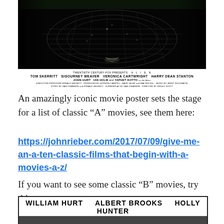[Figure (photo): Movie poster for ALIEN (1979). Top portion shows a dark, moody image with an alien egg or creature net pattern. Below is a white credits section reading: TWENTIETH CENTURY-FOX PRESENTS A L I E N / TOM SKERRITT  SIGOURNEY WEAVER  VERONICA CARTWRIGHT  HARRY DEAN STANTON / JOHN HURT  IAN HOLM and YAPHET KOTTO / EXECUTIVE PRODUCER RONALD SHUSETT  PRODUCED BY GORDON CARROLL, DAVID GILER and WALTER HILL MUSIC BY JERRY GOLDSMITH / STORY BY DAN O'BANNON and RONALD SHUSETT  SCREENPLAY BY DAN O'BANNON  DIRECTED BY RIDLEY SCOTT]
An amazingly iconic movie poster sets the stage for a list of classic “A” movies, see them here:
https://johnrieber.com/2017/07/09/give-me-an-a-ten-classic-films-that-begin-with-a-movies-a-z/
If you want to see some classic “B” movies, try this one:
[Figure (photo): Bottom portion of a movie poster showing WILLIAM HURT  ALBERT BROOKS  HOLLY HUNTER in bold black text on white background, with a dark image below.]